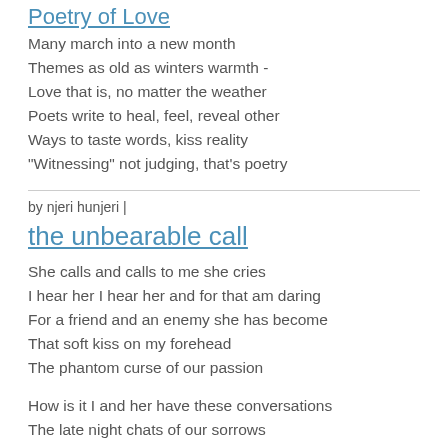Poetry of Love
Many march into a new month
Themes as old as winters warmth -
Love that is, no matter the weather
Poets write to heal, feel, reveal other
Ways to taste words, kiss reality
"Witnessing" not judging, that's poetry
by njeri hunjeri |
the unbearable call
She calls and calls to me she cries
I hear her I hear her and for that am daring
For a friend and an enemy she has become
That soft kiss on my forehead
The phantom curse of our passion

How is it I and her have these conversations
The late night chats of our sorrows
The innocent depths of our dawn
By midday we play tug of war